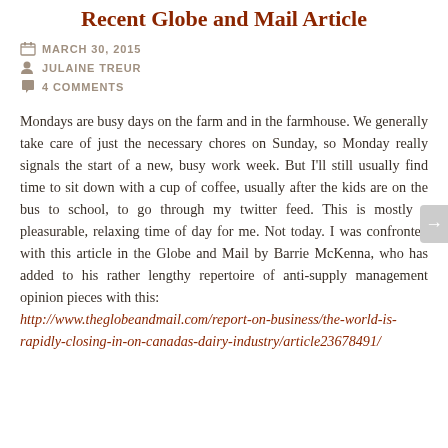Recent Globe and Mail Article
MARCH 30, 2015
JULAINE TREUR
4 COMMENTS
Mondays are busy days on the farm and in the farmhouse. We generally take care of just the necessary chores on Sunday, so Monday really signals the start of a new, busy work week. But I'll still usually find time to sit down with a cup of coffee, usually after the kids are on the bus to school, to go through my twitter feed. This is mostly a pleasurable, relaxing time of day for me. Not today. I was confronted with this article in the Globe and Mail by Barrie McKenna, who has added to his rather lengthy repertoire of anti-supply management opinion pieces with this: http://www.theglobeandmail.com/report-on-business/the-world-is-rapidly-closing-in-on-canadas-dairy-industry/article23678491/